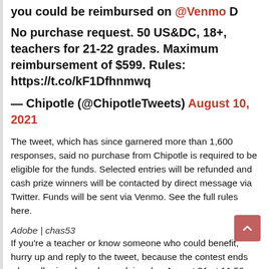you could be reimbursed on @Venmo D
No purchase request. 50 US&DC, 18+, teachers for 21-22 grades. Maximum reimbursement of $599. Rules: https://t.co/kF1Dfhnmwq
— Chipotle (@ChipotleTweets) August 10, 2021
The tweet, which has since garnered more than 1,600 responses, said no purchase from Chipotle is required to be eligible for the funds. Selected entries will be refunded and cash prize winners will be contacted by direct message via Twitter. Funds will be sent via Venmo. See the full rules here.
Adobe | chas53
If you're a teacher or know someone who could benefit, hurry up and reply to the tweet, because the contest ends when all prizes have been claimed or August 31 at 11:59